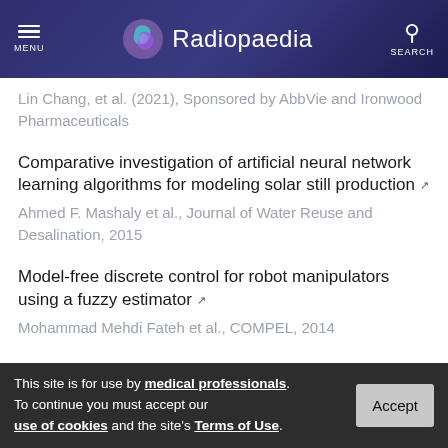Radiopaedia
Lin Chang, et al. (2021), Sponsored by AbbVie and Ironwood Pharmaceuticals
Comparative investigation of artificial neural network learning algorithms for modeling solar still production
Ahmed F. Mashaly et al., Journal of Water Reuse and Desalination, 2015
Model-free discrete control for robot manipulators using a fuzzy estimator
Mohammad Mehdi Fateh et al., COMPEL, 2014
This site is for use by medical professionals. To continue you must accept our use of cookies and the site's Terms of Use.